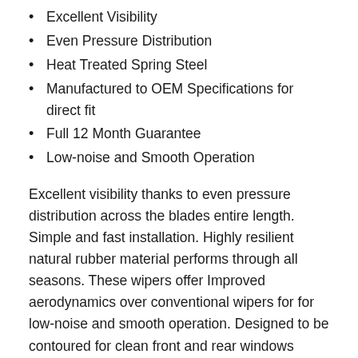Excellent Visibility
Even Pressure Distribution
Heat Treated Spring Steel
Manufactured to OEM Specifications for direct fit
Full 12 Month Guarantee
Low-noise and Smooth Operation
Excellent visibility thanks to even pressure distribution across the blades entire length. Simple and fast installation. Highly resilient natural rubber material performs through all seasons. These wipers offer Improved aerodynamics over conventional wipers for for low-noise and smooth operation. Designed to be contoured for clean front and rear windows regardless of operating conditions.